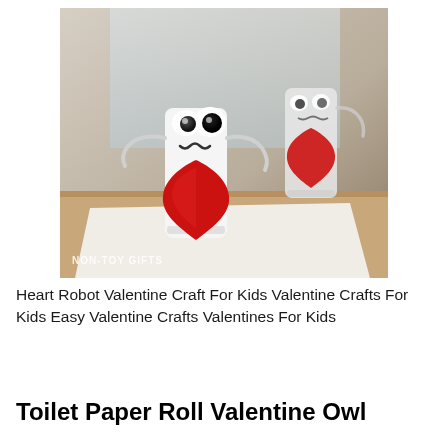[Figure (photo): Two toilet paper roll robots with googly eyes, squiggly mouths drawn in marker, pipe cleaner arms, and large red paper hearts held in front of their bodies. They are standing on a white paper on a wooden surface. The image has a watermark 'NON-TOY GIFTS' in the lower left corner.]
Heart Robot Valentine Craft For Kids Valentine Crafts For Kids Easy Valentine Crafts Valentines For Kids
Toilet Paper Roll Valentine Owl